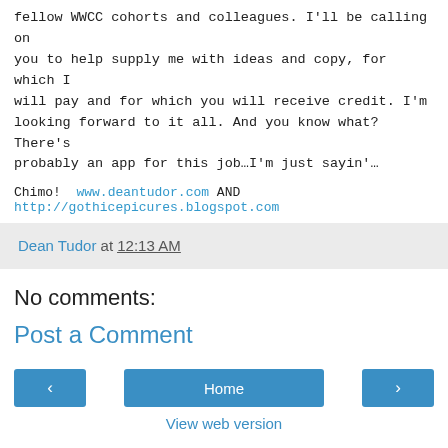fellow WWCC cohorts and colleagues. I'll be calling on you to help supply me with ideas and copy, for which I will pay and for which you will receive credit. I'm looking forward to it all. And you know what? There's probably an app for this job…I'm just sayin'…
Chimo!  www.deantudor.com AND http://gothicepicures.blogspot.com
Dean Tudor at 12:13 AM
No comments:
Post a Comment
‹  Home  ›
View web version
About Me